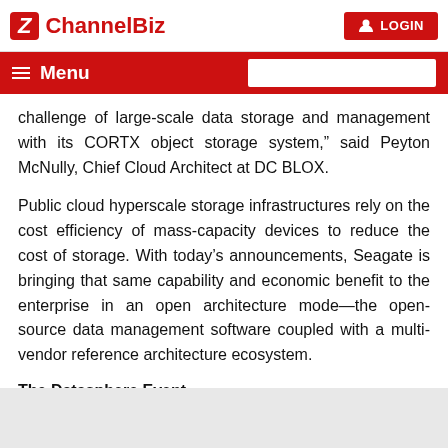ChannelBiz | LOGIN
Menu
challenge of large-scale data storage and management with its CORTX object storage system,” said Peyton McNully, Chief Cloud Architect at DC BLOX.
Public cloud hyperscale storage infrastructures rely on the cost efficiency of mass-capacity devices to reduce the cost of storage. With today’s announcements, Seagate is bringing that same capability and economic benefit to the enterprise in an open architecture mode—the open-source data management software coupled with a multi-vendor reference architecture ecosystem.
The Datasphere Event